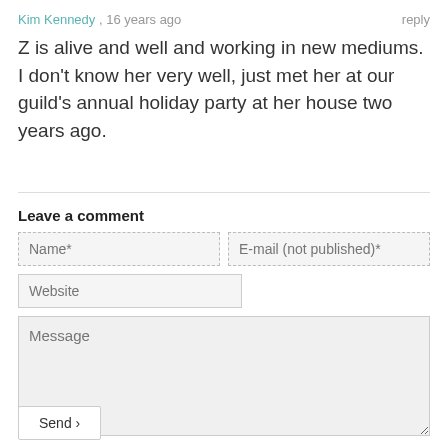Kim Kennedy , 16 years ago   reply
Z is alive and well and working in new mediums. I don't know her very well, just met her at our guild's annual holiday party at her house two years ago.
Leave a comment
Name* | E-mail (not published)*
Website
Message
Send ›